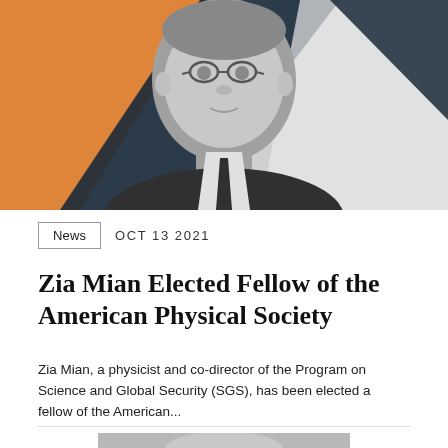[Figure (photo): Black and white portrait photo of Zia Mian, a man with glasses wearing a suit and tie, against a stylized background with orange, dark navy, and white geometric shapes]
News  OCT 13 2021
Zia Mian Elected Fellow of the American Physical Society
Zia Mian, a physicist and co-director of the Program on Science and Global Security (SGS), has been elected a fellow of the American...
[Figure (photo): Partial view of another person's photo at the bottom of the page]